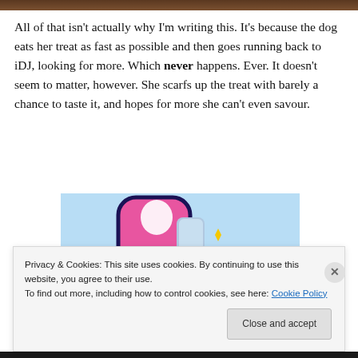[Figure (photo): Partial top edge of a photo, dark brownish tones]
All of that isn't actually why I'm writing this. It's because the dog eats her treat as fast as possible and then goes running back to iDJ, looking for more. Which never happens. Ever. It doesn't seem to matter, however. She scarfs up the treat with barely a chance to taste it, and hopes for more she can't even savour.
[Figure (illustration): Cartoon illustration with pink and dark blue curved shape resembling a tooth or character, yellow sparkle/star, on a light blue background with white curved ground at bottom]
Privacy & Cookies: This site uses cookies. By continuing to use this website, you agree to their use.
To find out more, including how to control cookies, see here: Cookie Policy
Close and accept